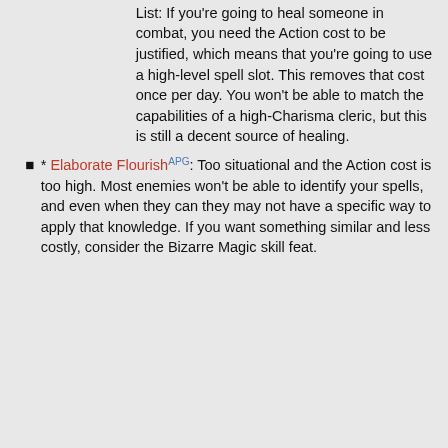List: If you're going to heal someone in combat, you need the Action cost to be justified, which means that you're going to use a high-level spell slot. This removes that cost once per day. You won't be able to match the capabilities of a high-Charisma cleric, but this is still a decent source of healing.
* Elaborate FlourishAPG: Too situational and the Action cost is too high. Most enemies won't be able to identify your spells, and even when they can they may not have a specific way to apply that knowledge. If you want something similar and less costly, consider the Bizarre Magic skill feat.
[Figure (infographic): Pure Earth charity advertisement: 'We believe the global pollution crisis can be solved.' with JOIN US button and Pure Earth logo]
[Figure (infographic): Bloomingdale's advertisement: 'View Today's Top Deals!' with SHOP NOW > button and model wearing hat]